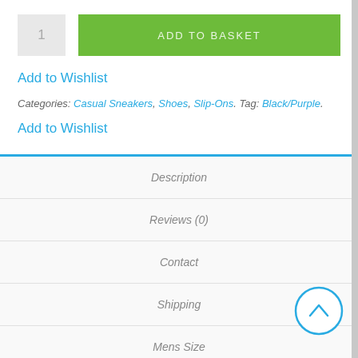1  ADD TO BASKET
Add to Wishlist
Categories: Casual Sneakers, Shoes, Slip-Ons. Tag: Black/Purple.
Add to Wishlist
Description
Reviews (0)
Contact
Shipping
Mens Size
Womens Size